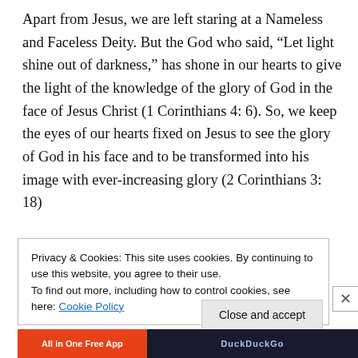Apart from Jesus, we are left staring at a Nameless and Faceless Deity. But the God who said, “Let light shine out of darkness,” has shone in our hearts to give the light of the knowledge of the glory of God in the face of Jesus Christ (1 Corinthians 4: 6). So, we keep the eyes of our hearts fixed on Jesus to see the glory of God in his face and to be transformed into his image with ever-increasing glory (2 Corinthians 3: 18)
Privacy & Cookies: This site uses cookies. By continuing to use this website, you agree to their use.
To find out more, including how to control cookies, see here: Cookie Policy
Close and accept